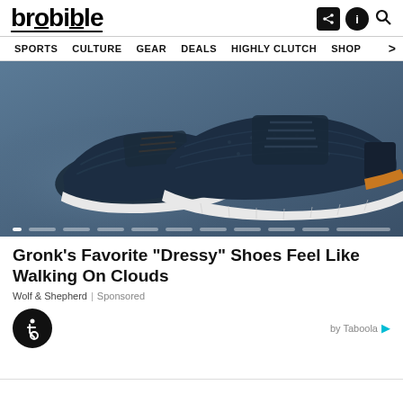brobible — SPORTS | CULTURE | GEAR | DEALS | HIGHLY CLUTCH | SHOP
[Figure (photo): Two navy blue sneakers (Wolf & Shepherd brand) with white soles and a tan accent stripe, displayed on a grey surface. Product advertisement photo.]
Gronk's Favorite "Dressy" Shoes Feel Like Walking On Clouds
Wolf & Shepherd | Sponsored
by Taboola